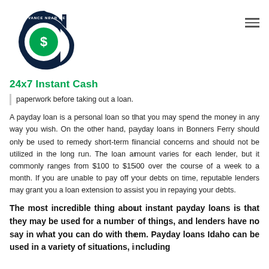[Figure (logo): 24x7 Instant Cash / Advance Near Me circular logo with dollar sign]
24x7 Instant Cash
paperwork before taking out a loan.
A payday loan is a personal loan so that you may spend the money in any way you wish. On the other hand, payday loans in Bonners Ferry should only be used to remedy short-term financial concerns and should not be utilized in the long run. The loan amount varies for each lender, but it commonly ranges from $100 to $1500 over the course of a week to a month. If you are unable to pay off your debts on time, reputable lenders may grant you a loan extension to assist you in repaying your debts.
The most incredible thing about instant payday loans is that they may be used for a number of things, and lenders have no say in what you can do with them. Payday loans Idaho can be used in a variety of situations, including